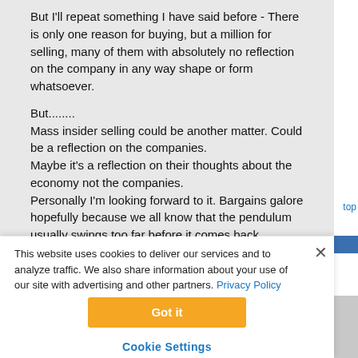But I'll repeat something I have said before - There is only one reason for buying, but a million for selling, many of them with absolutely no reflection on the company in any way shape or form whatsoever.
But........
Mass insider selling could be another matter. Could be a reflection on the companies.
Maybe it's a reflection on their thoughts about the economy not the companies.
Personally I'm looking forward to it. Bargains galore hopefully because we all know that the pendulum usually swings too far before it comes back.
This website uses cookies to deliver our services and to analyze traffic. We also share information about your use of our site with advertising and other partners. Privacy Policy
Got it
Cookie Settings